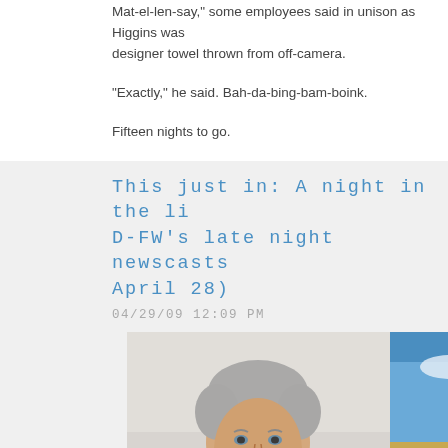Mat-el-len-say, some employees said in unison as Higgins was designer towel thrown from off-camera.
"Exactly," he said. Bah-da-bing-bam-boink.
Fifteen nights to go.
This just in: A night in the liv D-FW's late night newscasts ( April 28)
04/29/09 12:09 PM
[Figure (photo): Headshot of a middle-aged man with grey hair wearing a dark suit and blue striped shirt, against a light background.]
[Figure (photo): Outdoor photo showing an American flag and a building exterior under a blue sky.]